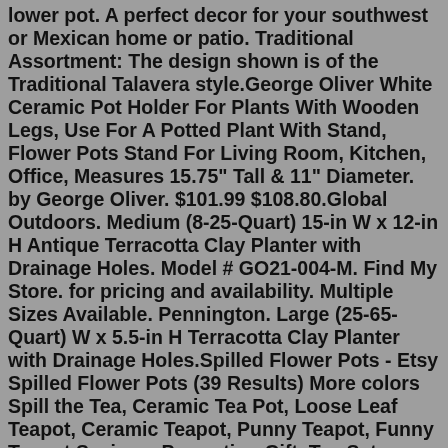lower pot. A perfect decor for your southwest or Mexican home or patio. Traditional Assortment: The design shown is of the Traditional Talavera style.George Oliver White Ceramic Pot Holder For Plants With Wooden Legs, Use For A Potted Plant With Stand, Flower Pots Stand For Living Room, Kitchen, Office, Measures 15.75" Tall & 11" Diameter. by George Oliver. $101.99 $108.80.Global Outdoors. Medium (8-25-Quart) 15-in W x 12-in H Antique Terracotta Clay Planter with Drainage Holes. Model # GO21-004-M. Find My Store. for pricing and availability. Multiple Sizes Available. Pennington. Large (25-65-Quart) W x 5.5-in H Terracotta Clay Planter with Drainage Holes.Spilled Flower Pots - Etsy Spilled Flower Pots (39 Results) More colors Spill the Tea, Ceramic Tea Pot, Loose Leaf Teapot, Ceramic Teapot, Punny Teapot, Funny Teapot Sayings, Promotion Gift, Tea Sets PistolCreekPurveyors (397) $25.00 Painted Clay Flower Pot with Lemon Pattern NorinesArtfulAccents (94) $20.00 Slanted Bowl -